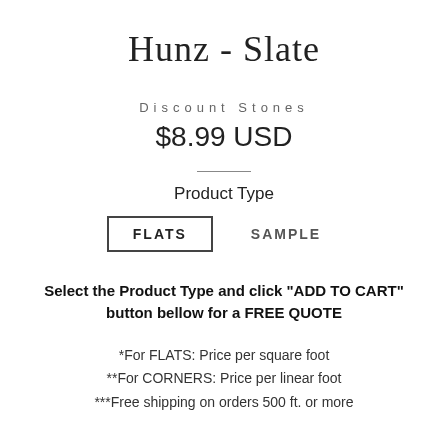Hunz - Slate
Discount Stones
$8.99 USD
Product Type
FLATS   SAMPLE
Select the Product Type and click "ADD TO CART" button bellow for a FREE QUOTE
*For FLATS: Price per square foot
**For CORNERS: Price per linear foot
***Free shipping on orders 500 ft. or more